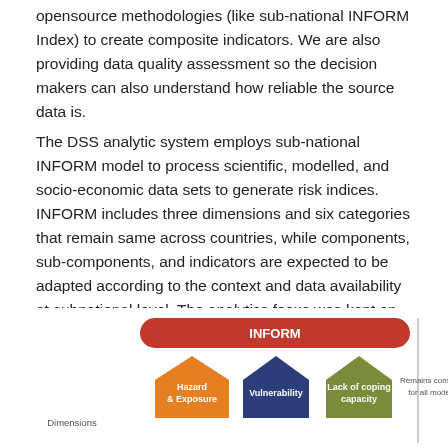opensource methodologies (like sub-national INFORM Index) to create composite indicators. We are also providing data quality assessment so the decision makers can also understand how reliable the source data is.
The DSS analytic system employs sub-national INFORM model to process scientific, modelled, and socio-economic data sets to generate risk indices. INFORM includes three dimensions and six categories that remain same across countries, while components, sub-components, and indicators are expected to be adapted according to the context and data availability at subnational level. The analytics focus was kept on natural and health related hazards same as all other tools of the risk and resilience portal.
[Figure (flowchart): INFORM model diagram showing three dimensions: Hazard & Exposure (orange pentagon), Vulnerability (dark blue pentagon), Lack of coping capacity (olive/green pentagon), with a red rounded rectangle bar labeled INFORM at top. A sidebar states 'Remains constant for all models'. Row label: Dimensions.]